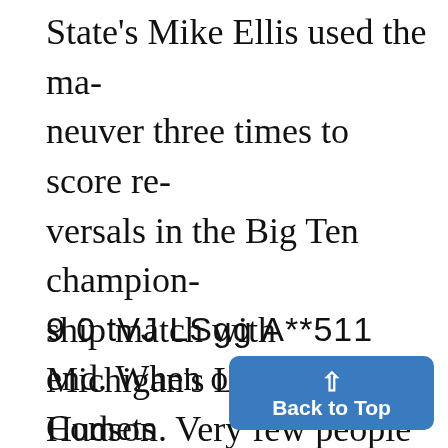State's Mike Ellis used the maneuver three times to score reversals in the Big Ten championship match with Michigan's Lou Hudson. Very few people who; know of the "Granby Roll" have any idea of the story behind thata name.
In 1967, led by three-time state
9 0 tVJ LSgg A**511
end. When only eight Comets qualified for this year's tournament, other schools began beli
[Figure (other): Blue 'Back to Top' button with upward caret arrow, positioned in bottom-right corner]